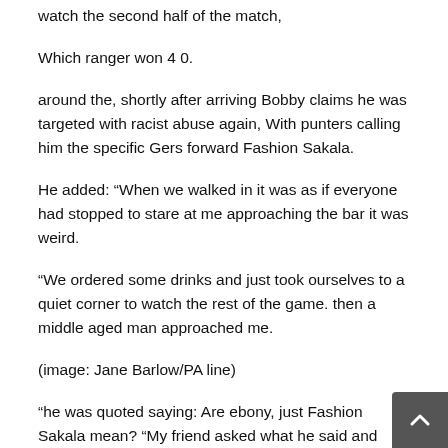watch the second half of the match,
Which ranger won 4 0.
around the, shortly after arriving Bobby claims he was targeted with racist abuse again, With punters calling him the specific Gers forward Fashion Sakala.
He added: “When we walked in it was as if everyone had stopped to stare at me approaching the bar it was weird.
“We ordered some drinks and just took ourselves to a quiet corner to watch the rest of the game. then a middle aged man approached me.
(image: Jane Barlow/PA line)
“he was quoted saying: Are ebony, just Fashion Sakala mean? “My friend asked what he said and when I repeated it these people were absolutely astounded. He then constant calling me Fashion Sakala, despite the reality I asked him to leave me alone to watch the